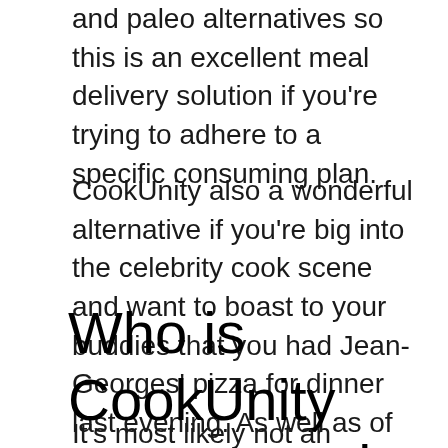and paleo alternatives so this is an excellent meal delivery solution if you're trying to adhere to a specific consuming plan.
CookUnity also a wonderful alternative if you're big into the celebrity cook scene and want to boast to your buddies that you had Jean-Georges' pizza for dinner last evening. As well as of course, the French-born, James Beard Award-winning cook actually has a pizza recipe on the CookUnity menu. Go number.
Who is CookUnity not as good for?
It's most likely not an excellent option for